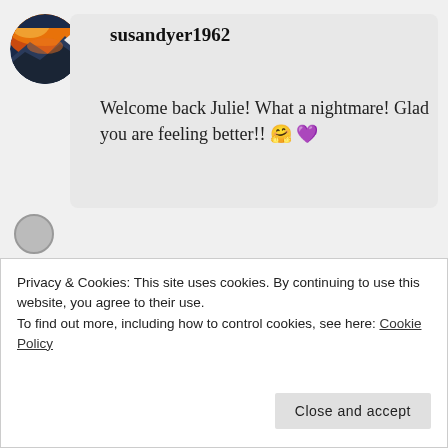[Figure (photo): Circular avatar photo showing a sunset/sunrise landscape with orange sky and blue mountain silhouettes]
susandyer1962
Welcome back Julie! What a nightmare! Glad you are feeling better!! 🤗 💜
★ Liked by 1 person
JUNE 5, 2019 AT 2:56 PM
↳ REPLY
Privacy & Cookies: This site uses cookies. By continuing to use this website, you agree to their use.
To find out more, including how to control cookies, see here: Cookie Policy
Close and accept